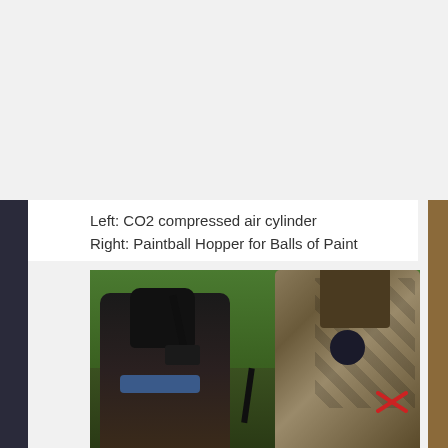Left: CO2 compressed air cylinder
Right: Paintball Hopper for Balls of Paint
[Figure (photo): Two paintball players viewed from behind. Left player wears a black paintball mask and holds a paintball gun with a CO2 compressed air cylinder. Right player wears camouflage gear with a paintball hopper visible. Background is a green field. A red X mark is visible on the right player's back.]